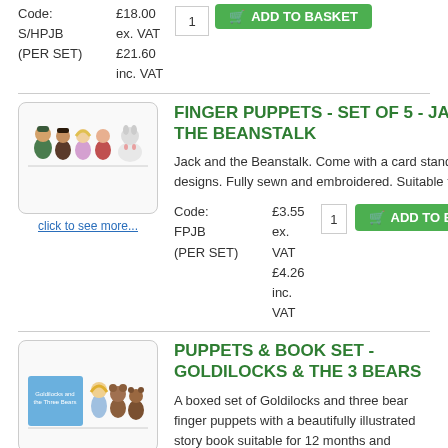Code: S/HPJB (PER SET)   £18.00 ex. VAT  £21.60 inc. VAT
FINGER PUPPETS - SET OF 5 - JACK & THE BEANSTALK
[Figure (photo): Photo of 5 finger puppets characters from Jack and the Beanstalk story]
click to see more...
Jack and the Beanstalk. Come with a card stand. Our own designs. Fully sewn and embroidered. Suitable for age 3+.
Code: FPJB (PER SET)   £3.55 ex. VAT  £4.26 inc. VAT
PUPPETS & BOOK SET - GOLDILOCKS & THE 3 BEARS
[Figure (photo): Photo of Goldilocks and the Three Bears puppets with illustrated story book]
click to see more...
A boxed set of Goldilocks and three bear finger puppets with a beautifully illustrated story book suitable for 12 months and above. The overall box size is 340 x 240 x 55mm approx. Goldilocks